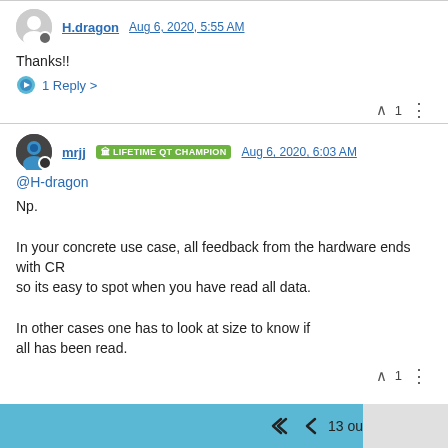H.dragon Aug 6, 2020, 5:55 AM
Thanks!!
1 Reply >
^1
mrjj LIFETIME QT CHAMPION Aug 6, 2020, 6:03 AM
@H-dragon
Np.

In your concrete use case, all feedback from the hardware ends with CR
so its easy to spot when you have read all data.

In other cases one has to look at size to know if
all has been read.
^1
13 out of 15